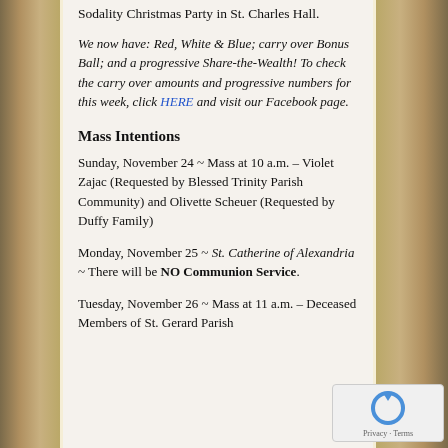Sodality Christmas Party in St. Charles Hall.
We now have: Red, White & Blue; carry over Bonus Ball; and a progressive Share-the-Wealth! To check the carry over amounts and progressive numbers for this week, click HERE and visit our Facebook page.
Mass Intentions
Sunday, November 24 ~ Mass at 10 a.m. – Violet Zajac (Requested by Blessed Trinity Parish Community) and Olivette Scheuer (Requested by Duffy Family)
Monday, November 25 ~ St. Catherine of Alexandria ~ There will be NO Communion Service.
Tuesday, November 26 ~ Mass at 11 a.m. – Deceased Members of St. Gerard Parish